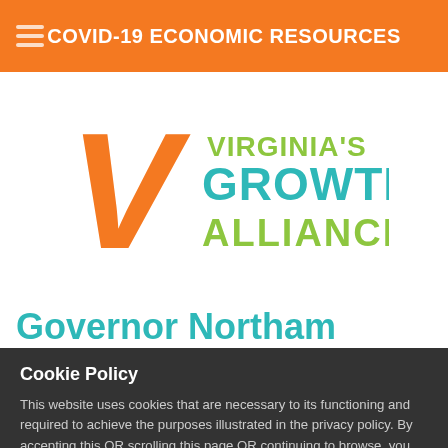COVID-19 ECONOMIC RESOURCES
[Figure (logo): Virginia's Growth Alliance logo with large orange V and colorful text]
Governor Northam
Cookie Policy
This website uses cookies that are necessary to its functioning and required to achieve the purposes illustrated in the privacy policy. By accepting this OR scrolling this page OR continuing to browse, you agree to our privacy policy.
Privacy Policy | Accept